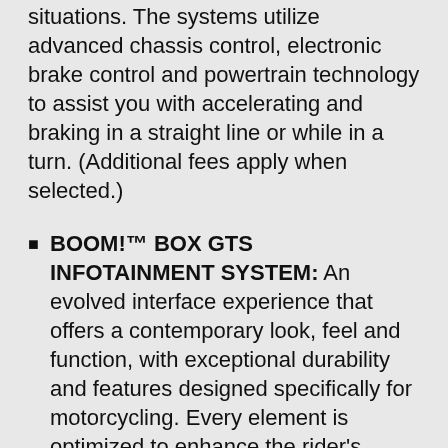situations. The systems utilize advanced chassis control, electronic brake control and powertrain technology to assist you with accelerating and braking in a straight line or while in a turn. (Additional fees apply when selected.)
BOOM!™ BOX GTS INFOTAINMENT SYSTEM: An evolved interface experience that offers a contemporary look, feel and function, with exceptional durability and features designed specifically for motorcycling. Every element is optimized to enhance the rider's interaction with the bike and connectivity with the world.
FRAME-MOUNTED SHARK NOSE FAIRING: A distinctive aerodynamic